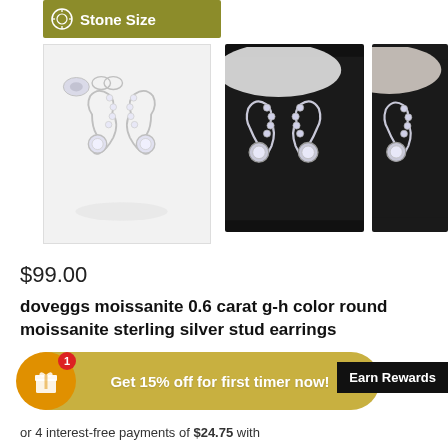[Figure (other): Stone Size banner/tab with icon and text in olive/gold color]
[Figure (photo): Three product photos of silver swan-shaped moissanite stud earrings: left shows white-background product shot, middle and right show dark-background lifestyle/detail shots]
$99.00
doveggs moissanite 0.6 carat g-h color round moissanite sterling silver stud earrings
[Figure (infographic): Discount promotional badge: gift icon circle with badge '1', tan/gold rounded bar reading 'Get 15% off for first timer now!' and black 'Earn Rewards' label on right]
or 4 interest-free payments of $24.75 with